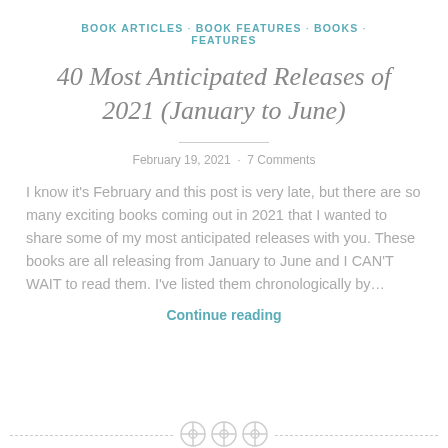BOOK ARTICLES · BOOK FEATURES · BOOKS · FEATURES
40 Most Anticipated Releases of 2021 (January to June)
February 19, 2021 · 7 Comments
I know it's February and this post is very late, but there are so many exciting books coming out in 2021 that I wanted to share some of my most anticipated releases with you. These books are all releasing from January to June and I CAN'T WAIT to read them. I've listed them chronologically by…
Continue reading